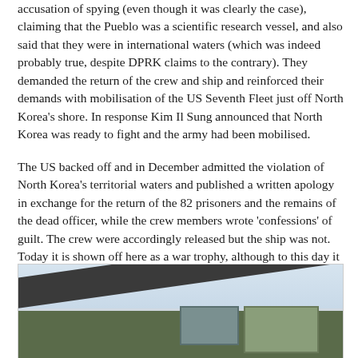accusation of spying (even though it was clearly the case), claiming that the Pueblo was a scientific research vessel, and also said that they were in international waters (which was indeed probably true, despite DPRK claims to the contrary). They demanded the return of the crew and ship and reinforced their demands with mobilisation of the US Seventh Fleet just off North Korea's shore. In response Kim Il Sung announced that North Korea was ready to fight and the army had been mobilised.
The US backed off and in December admitted the violation of North Korea's territorial waters and published a written apology in exchange for the return of the 82 prisoners and the remains of the dead officer, while the crew members wrote 'confessions' of guilt. The crew were accordingly released but the ship was not. Today it is shown off here as a war trophy, although to this day it officially remains a commissioned vessel of the United States Navy.
[Figure (photo): Partial photograph showing the exterior of a dark metal structure (likely the USS Pueblo ship) with a diagonal beam or hull element at top, windows/portholes visible, and green foliage in the background.]